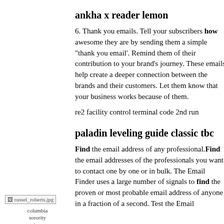[Figure (photo): Broken image placeholder labeled russel_roberts.jpg]
columbia sorority dues
ankha x reader lemon
6. Thank you emails. Tell your subscribers how awesome they are by sending them a simple "thank you email'. Remind them of their contribution to your brand's journey. These emails help create a deeper connection between the brands and their customers. Let them know that your business works because of them.
re2 facility control terminal code 2nd run
paladin leveling guide classic tbc
Find the email address of any professional.Find the email addresses of the professionals you want to contact one by one or in bulk. The Email Finder uses a large number of signals to find the proven or most probable email address of anyone in a fraction of a second. Test the Email